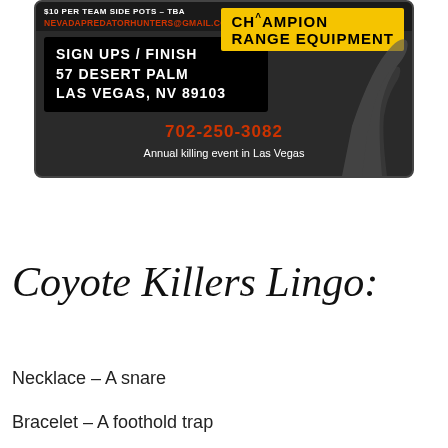[Figure (photo): Advertisement for an annual coyote killing event in Las Vegas. Dark background with text: '$10 PER TEAM SIDE POTS - TBA', email 'NEVADAPREDATORHUNTERS@GMAIL.COM', Champion logo in yellow, black box with 'SIGN UPS / FINISH 57 DESERT PALM LAS VEGAS, NV 89103', phone number '702-250-3082', and caption 'Annual killing event in Las Vegas'.]
Annual killing event in Las Vegas
Coyote Killers Lingo:
Necklace – A snare
Bracelet – A foothold trap